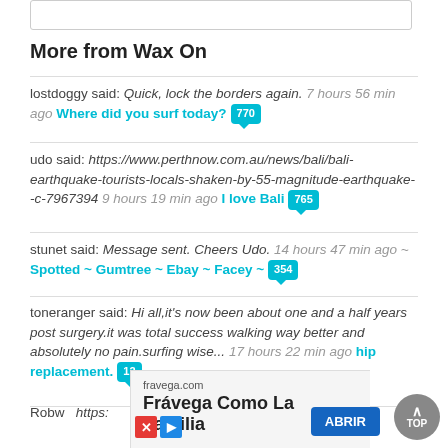More from Wax On
lostdoggy said: Quick, lock the borders again. 7 hours 56 min ago Where did you surf today? [770]
udo said: https://www.perthnow.com.au/news/bali/bali-earthquake-tourists-locals-shaken-by-55-magnitude-earthquake--c-7967394 9 hours 19 min ago I love Bali [765]
stunet said: Message sent. Cheers Udo. 14 hours 47 min ago ~ Spotted ~ Gumtree ~ Ebay ~ Facey ~ [354]
toneranger said: Hi all,it's now been about one and a half years post surgery.it was total success walking way better and absolutely no pain.surfing wise... 17 hours 22 min ago hip replacement. [12]
Robw... https:...
[Figure (screenshot): Advertisement overlay: fravega.com - Frávega Como La Familia with ABRIR button, ad icons, and TOP scroll button]